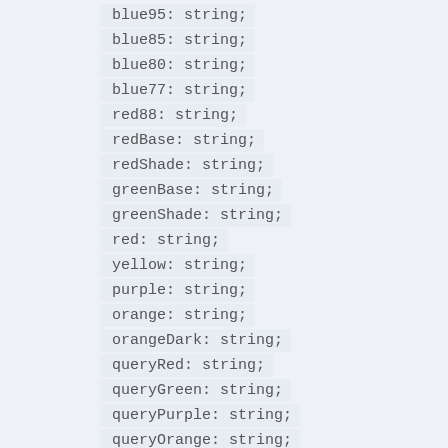blue95: string;
blue85: string;
blue80: string;
blue77: string;
red88: string;
redBase: string;
redShade: string;
greenBase: string;
greenShade: string;
red: string;
yellow: string;
purple: string;
orange: string;
orangeDark: string;
queryRed: string;
queryGreen: string;
queryPurple: string;
queryOrange: string;
brandPrimary: string;